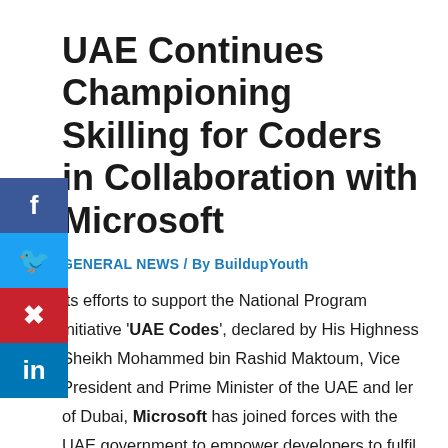UAE Continues Championing Skilling for Coders in Collaboration with Microsoft
GENERAL NEWS / By BuildupYouth
its efforts to support the National Program initiative 'UAE Codes', declared by His Highness Sheikh Mohammed bin Rashid Maktoum, Vice President and Prime Minister of the UAE and ler of Dubai, Microsoft has joined forces with the UAE government to empower developers to fulfil the nation's digital visions and potential through a special series of events. The curated series of workshops and courses, boosted by the power of Azure, applications and cloud-led development, will further enhance the capabilities of coders and programmers, aimed at nurturing and breeding a new generation of talent to secure the